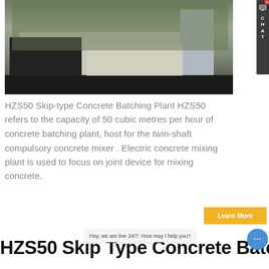[Figure (photo): HZS50 Skip-type Concrete Batching Plant machinery photographed outdoors at a quarry or construction site, showing large industrial concrete mixing equipment on tracks]
HZS50 Skip-type Concrete Batching Plant HZS50 refers to the capacity of 50 cubic metres per hour of concrete batching plant, host for the twin-shaft compulsory concrete mixer . Electric concrete mixing plant is used to focus on joint device for mixing concrete.
Learn More
HZS50 Skip Type Concrete Batc
Hey, we are live 24/7. How may I help you?